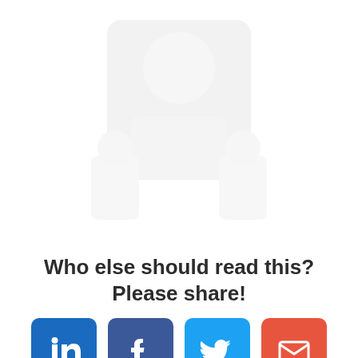[Figure (illustration): Faded/watermark illustration in upper portion of page, appears to show silhouettes or figures, very light gray on white background]
Who else should read this?
Please share!
[Figure (infographic): Four social media sharing buttons in a row: LinkedIn (blue), Facebook (dark blue), Twitter (light blue), Email (orange-red)]